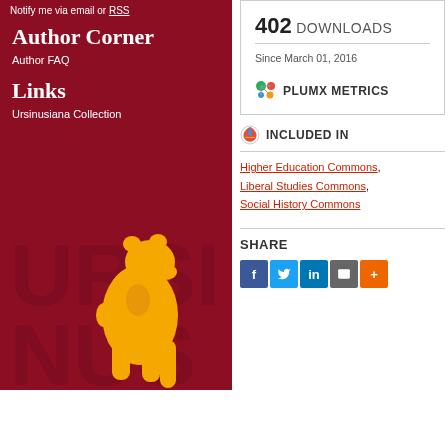Notify me via email or RSS
Author Corner
Author FAQ
Links
Ursinusiana Collection
[Figure (logo): Ursinus College bear mascot logo in gold on dark red background with URSINUS text]
402 DOWNLOADS
Since March 01, 2016
[Figure (logo): PlumX Metrics logo with colorful dots]
PLUMX METRICS
[Figure (logo): Included In icon]
INCLUDED IN
Higher Education Commons,
Liberal Studies Commons,
Social History Commons
SHARE